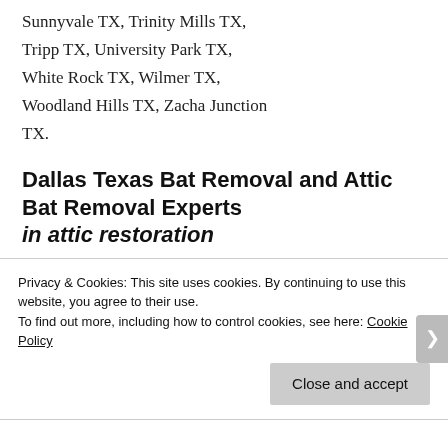Sunnyvale TX, Trinity Mills TX, Tripp TX, University Park TX, White Rock TX, Wilmer TX, Woodland Hills TX, Zacha Junction TX.
Dallas Texas Bat Removal and Attic Bat Removal Experts in attic restoration
Privacy & Cookies: This site uses cookies. By continuing to use this website, you agree to their use.
To find out more, including how to control cookies, see here: Cookie Policy
Close and accept